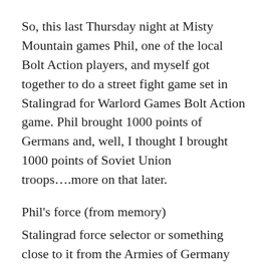So, this last Thursday night at Misty Mountain games Phil, one of the local Bolt Action players, and myself got together to do a street fight game set in Stalingrad for Warlord Games Bolt Action game. Phil brought 1000 points of Germans and, well, I thought I brought 1000 points of Soviet Union troops….more on that later.
Phil's force (from memory)
Stalingrad force selector or something close to it from the Armies of Germany book
2nd Lt with SMG and a soldier with rifle
Forward Artillery Observer